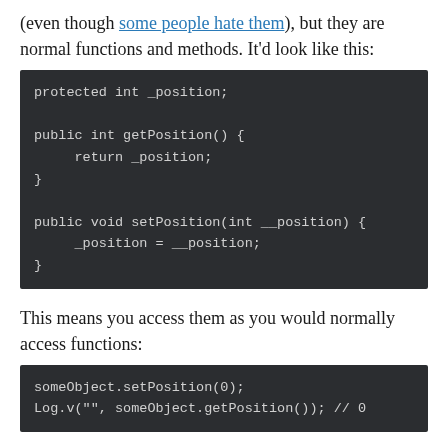(even though some people hate them), but they are normal functions and methods. It'd look like this:
[Figure (screenshot): Dark-themed code block showing Java code: protected int _position; public int getPosition() { return _position; } public void setPosition(int __position) { _position = __position; }]
This means you access them as you would normally access functions:
[Figure (screenshot): Dark-themed code block showing: someObject.setPosition(0); Log.v("", someObject.getPosition()); // 0]
It works well; I'm yet to see a real disadvantage (you can't do the trivial iteration flexibility that some are...